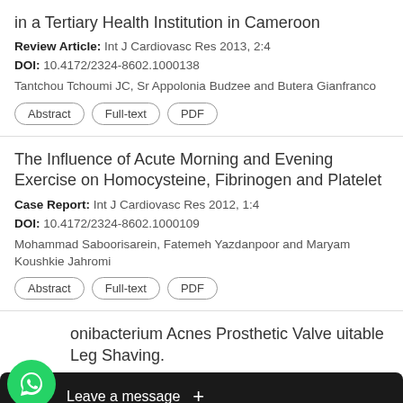in a Tertiary Health Institution in Cameroon
Review Article: Int J Cardiovasc Res 2013, 2:4
DOI: 10.4172/2324-8602.1000138
Tantchou Tchoumi JC, Sr Appolonia Budzee and Butera Gianfranco
Abstract  Full-text  PDF
The Influence of Acute Morning and Evening Exercise on Homocysteine, Fibrinogen and Platelet
Case Report: Int J Cardiovasc Res 2012, 1:4
DOI: 10.4172/2324-8602.1000109
Mohammad Saboorisarein, Fatemeh Yazdanpoor and Maryam Koushkie Jahromi
Abstract  Full-text  PDF
onibacterium Acnes Prosthetic Valve …uitable Leg Shaving.
Imp…ommendations to
[Figure (screenshot): WhatsApp chat overlay with green WhatsApp icon and 'Leave a message +' black bar at bottom]